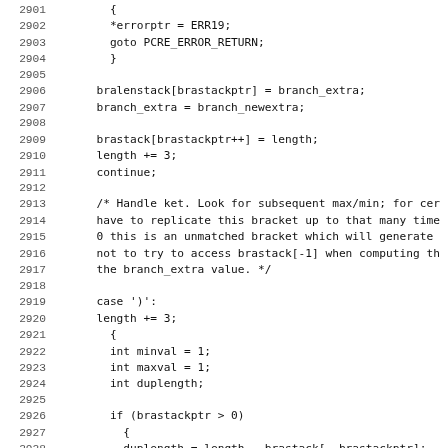[Figure (screenshot): Source code listing in monospace font, lines 2901-2932, showing C code for PCRE regex engine handling bracket stack operations and ket processing.]